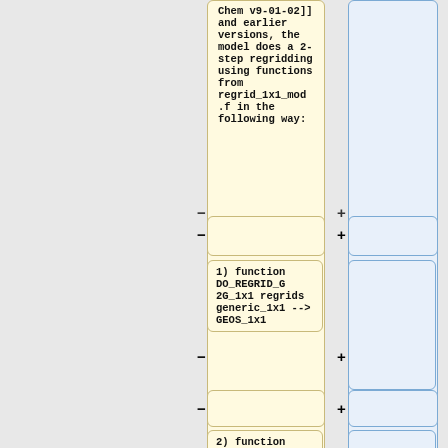Chem v9-01-02]] and earlier versions, the model does a 2-step regridding using functions from regrid_1x1_mod.f in the following way:
1) function DO_REGRID_G2G_1x1 regrids generic_1x1 --> GEOS_1x1
2) function DO_REGRID_1x1 regrids